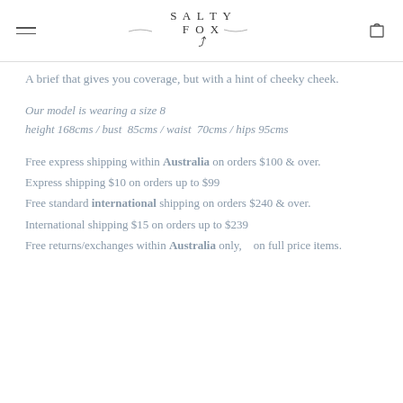SALTY FOX
A brief that gives you coverage, but with a hint of cheeky cheek.
Our model is wearing a size 8
height 168cms / bust  85cms / waist  70cms / hips 95cms
Free express shipping within Australia on orders $100 & over.
Express shipping $10 on orders up to $99
Free standard international shipping on orders $240 & over.
International shipping $15 on orders up to $239
Free returns/exchanges within Australia only,   on full price items.